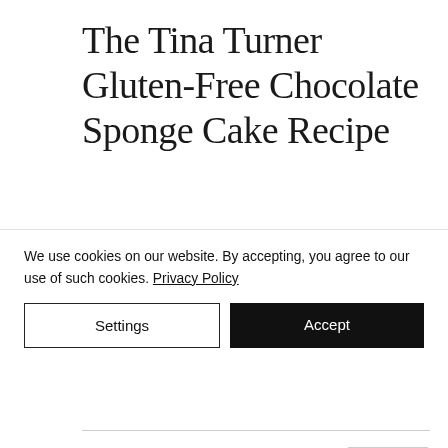The Tina Turner Gluten-Free Chocolate Sponge Cake Recipe
You may be wondering why this is called the Tina Turner chocolate cake recipe. Well, let me tell you: it's because it's sim...
We use cookies on our website. By accepting, you agree to our use of such cookies. Privacy Policy